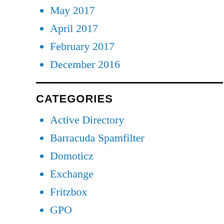May 2017
April 2017
February 2017
December 2016
CATEGORIES
Active Directory
Barracuda Spamfilter
Domoticz
Exchange
Fritzbox
GPO
Hardware